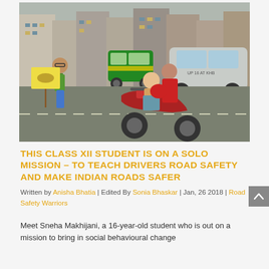[Figure (photo): A young woman in a green top and blue jeans holds a yellow sign, standing beside a road. A man rides a red scooter with a passenger. A silver car and auto-rickshaw are in the background. Urban street scene in India.]
THIS CLASS XII STUDENT IS ON A SOLO MISSION – TO TEACH DRIVERS ROAD SAFETY AND MAKE INDIAN ROADS SAFER
Written by Anisha Bhatia | Edited By Sonia Bhaskar | Jan, 26 2018 | Road Safety Warriors
Meet Sneha Makhijani, a 16-year-old student who is out on a mission to bring in social behavioural change